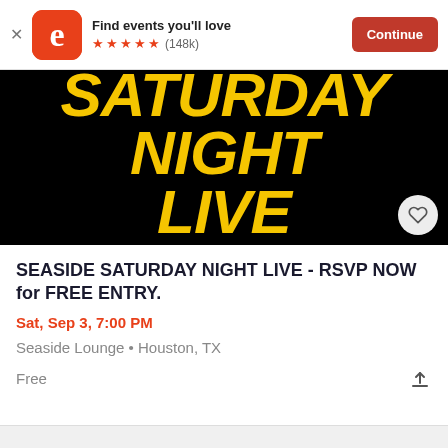Find events you'll love ★★★★★ (148k) Continue
[Figure (illustration): Black background with large bold yellow italic text reading SATURDAY NIGHT LIVE on two lines, with a heart/favorite button in the lower right corner]
SEASIDE SATURDAY NIGHT LIVE - RSVP NOW for FREE ENTRY.
Sat, Sep 3, 7:00 PM
Seaside Lounge • Houston, TX
Free